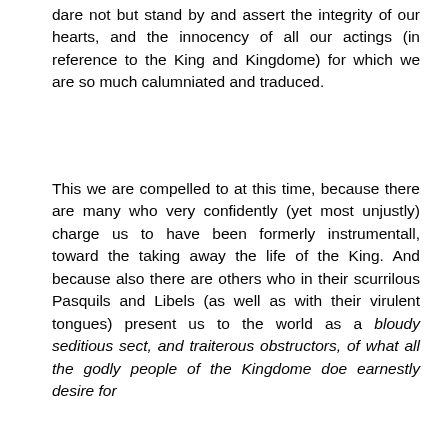dare not but stand by and assert the integrity of our hearts, and the innocency of all our actings (in reference to the King and Kingdome) for which we are so much calumniated and traduced.
This we are compelled to at this time, because there are many who very confidently (yet most unjustly) charge us to have been formerly instrumentall, toward the taking away the life of the King. And because also there are others who in their scurrilous Pasquils and Libels (as well as with their virulent tongues) present us to the world as a bloudy seditious sect, and traiterous obstructors, of what all the godly people of the Kingdome doe earnestly desire for